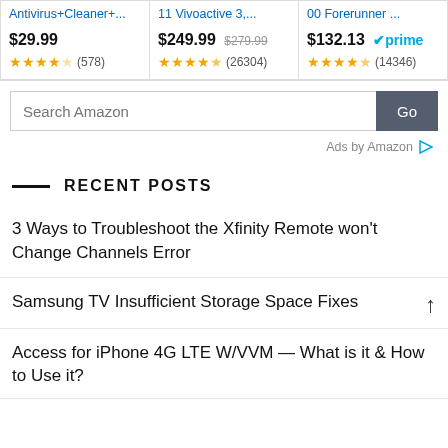[Figure (screenshot): Amazon product cards row showing three products: Antivirus+Cleaner+ at $29.99 with 3.5 stars (578 reviews), 11 Vivoactive 3,... at $249.99 (originally $279.99) with 4.5 stars (26304 reviews), 00 Forerunner... at $132.13 with Prime badge and 4.5 stars (14346 reviews)]
[Figure (screenshot): Amazon search box with 'Search Amazon' placeholder text and a 'Go' button]
Ads by Amazon
RECENT POSTS
3 Ways to Troubleshoot the Xfinity Remote won't Change Channels Error
Samsung TV Insufficient Storage Space Fixes
Access for iPhone 4G LTE W/VVM — What is it & How to Use it?